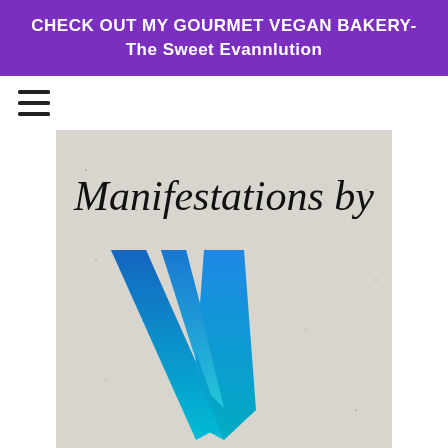CHECK OUT MY GOURMET VEGAN BAKERY- The Sweet Evannlution
[Figure (logo): Hamburger menu icon (three horizontal lines)]
[Figure (logo): Manifestations by W logo: script text 'Manifestations by' above a stylized blue W shape with radiating blue streaks on a light grey speckled background]